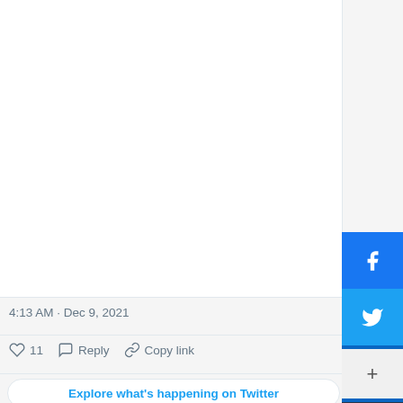[Figure (screenshot): Twitter/X tweet screenshot showing empty tweet content area, timestamp, like/reply/copy-link action bar, and explore button. A social share sidebar is visible on the right with Facebook, Twitter, LinkedIn, copy, and email share buttons.]
4:13 AM · Dec 9, 2021
♡  11   Reply   Copy link
Explore what's happening on Twitter